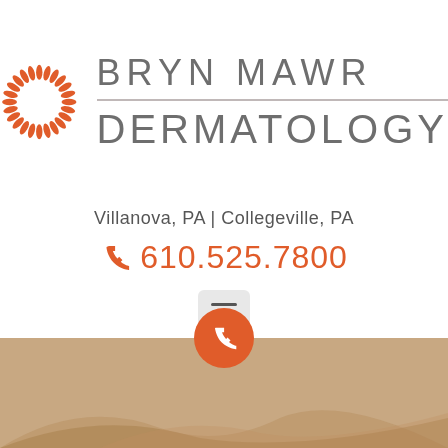[Figure (logo): Bryn Mawr Dermatology logo: circular sunflower/petal pattern in orange on the left, with 'BRYN MAWR' and 'DERMATOLOGY' text in gray on the right separated by a horizontal line]
Villanova, PA | Collegeville, PA
610.525.7800
[Figure (infographic): Hamburger menu button (three horizontal lines) on a light gray rounded rectangle background]
[Figure (photo): Partial photo of a woman's head/hair at the bottom of the page, with an orange circular call button overlaid]